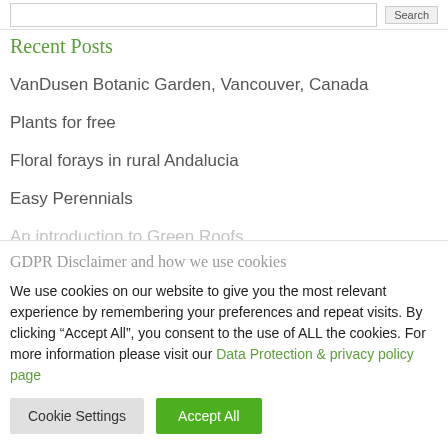Recent Posts
VanDusen Botanic Garden, Vancouver, Canada
Plants for free
Floral forays in rural Andalucia
Easy Perennials
An introduction to Green Roofs
GDPR Disclaimer and how we use cookies
We use cookies on our website to give you the most relevant experience by remembering your preferences and repeat visits. By clicking “Accept All”, you consent to the use of ALL the cookies. For more information please visit our Data Protection & privacy policy page
Cookie Settings | Accept All